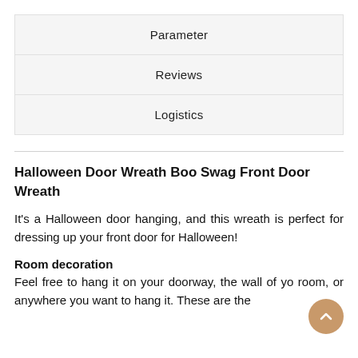Parameter
Reviews
Logistics
Halloween Door Wreath Boo Swag Front Door Wreath
It's a Halloween door hanging, and this wreath is perfect for dressing up your front door for Halloween!
Room decoration
Feel free to hang it on your doorway, the wall of your room, or anywhere you want to hang it. These are the